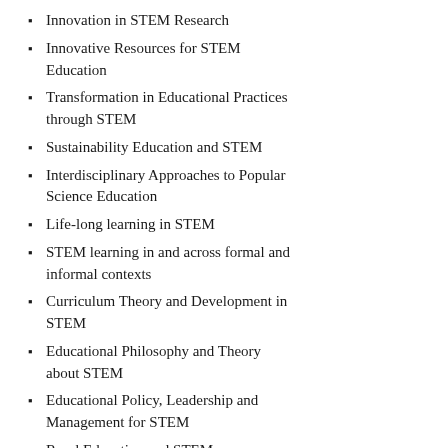Innovation in STEM Research
Innovative Resources for STEM Education
Transformation in Educational Practices through STEM
Sustainability Education and STEM
Interdisciplinary Approaches to Popular Science Education
Life-long learning in STEM
STEM learning in and across formal and informal contexts
Curriculum Theory and Development in STEM
Educational Philosophy and Theory about STEM
Educational Policy, Leadership and Management for STEM
Rural Education and STEM